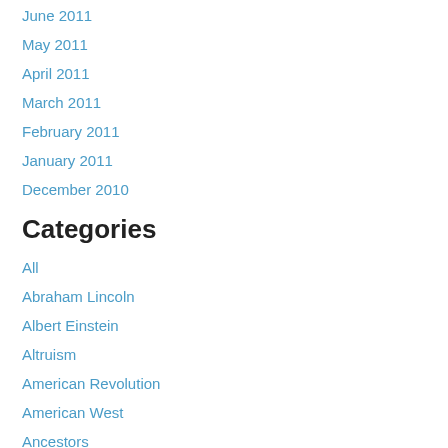June 2011
May 2011
April 2011
March 2011
February 2011
January 2011
December 2010
Categories
All
Abraham Lincoln
Albert Einstein
Altruism
American Revolution
American West
Ancestors
Apollo 11
Apples
April Halprin Wayland
Asian Pacific Island Heritage Month
Authors Week